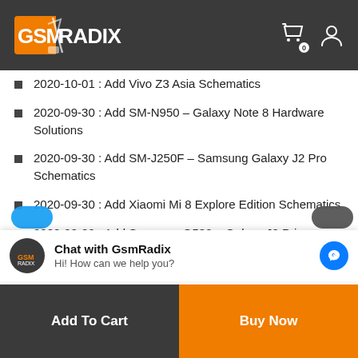GSMRADIX — header with logo, cart icon (0), and user icon
2020-10-01 : Add Vivo Z3 Asia Schematics
2020-09-30 : Add SM-N950 – Galaxy Note 8 Hardware Solutions
2020-09-30 : Add SM-J250F – Samsung Galaxy J2 Pro Schematics
2020-09-30 : Add Xiaomi Mi 8 Explore Edition Schematics
2020-09-29 : Add Samsung G532 – Galaxy J2 Prime Hardware Solutions
Chat with GsmRadix — Hi! How can we help you?
Add to Cart   Buy Now